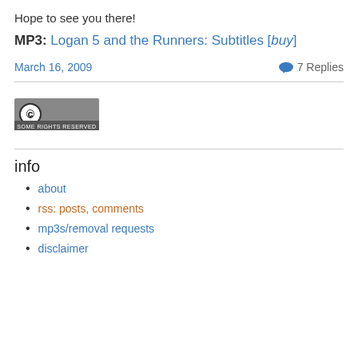Hope to see you there!
MP3: Logan 5 and the Runners: Subtitles [buy]
March 16, 2009
7 Replies
[Figure (logo): Creative Commons Some Rights Reserved badge]
info
about
rss: posts, comments
mp3s/removal requests
disclaimer